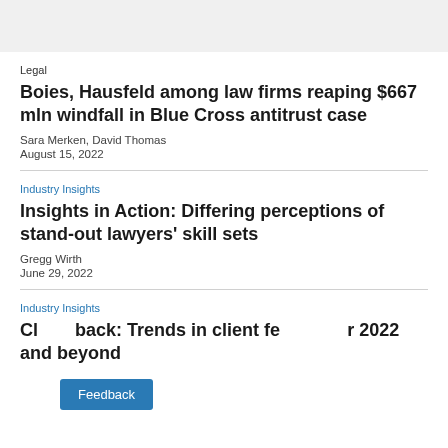Legal
Boies, Hausfeld among law firms reaping $667 mln windfall in Blue Cross antitrust case
Sara Merken, David Thomas
August 15, 2022
Industry Insights
Insights in Action: Differing perceptions of stand-out lawyers’ skill sets
Gregg Wirth
June 29, 2022
Industry Insights
Cl back: Trends in client fe r 2022 and beyond